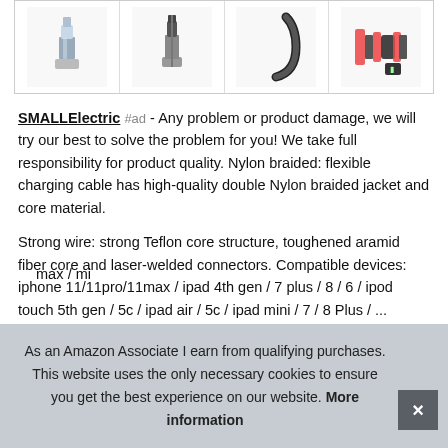[Figure (photo): Four product images in a row showing charging cables and a weight/dumbbell with a lock or tag]
SMALLElectric #ad - Any problem or product damage, we will try our best to solve the problem for you! We take full responsibility for product quality. Nylon braided: flexible charging cable has high-quality double Nylon braided jacket and core material.
Strong wire: strong Teflon core structure, toughened aramid fiber core and laser-welded connectors. Compatible devices: iphone 11/11pro/11max / ipad 4th gen / 7 plus / 8 / 6 / ipod touch 5th gen / 5c / ipad air / 5c / ipad mini / 7 / 8 Plus / ... max / ... / mi
As an Amazon Associate I earn from qualifying purchases. This website uses the only necessary cookies to ensure you get the best experience on our website. More information